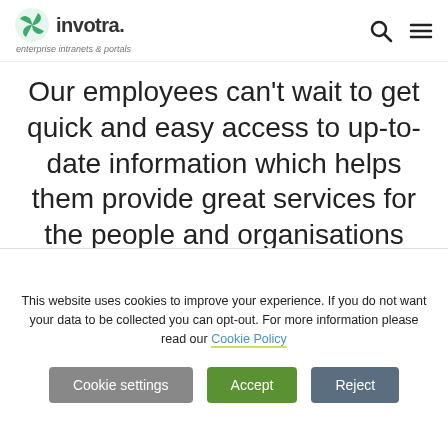invotra — enterprise intranets & portals
Our employees can't wait to get quick and easy access to up-to-date information which helps them provide great services for the people and organisations within Stevenage. In particular, for employees who are largely off site and don't have a desk or computer, like refuse collectors, they can now access the intranet on their mobiles
This website uses cookies to improve your experience. If you do not want your data to be collected you can opt-out. For more information please read our Cookie Policy
Cookie settings | Accept | Reject